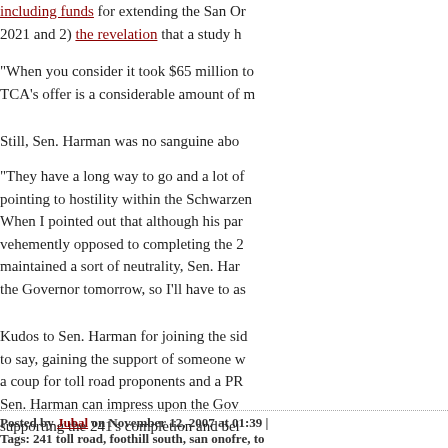including funds for extending the San Onofre... 2021 and 2) the revelation that a study h... completion was unnecessary turned out...
"When you consider it took $65 million to... TCA's offer is a considerable amount of m...
Still, Sen. Harman was no sanguine abo...
"They have a long way to go and a lot of... pointing to hostility within the Schwarzen... When I pointed out that although his par... vehemently opposed to completing the 2... maintained a sort of neutrality, Sen. Har... the Governor tomorrow, so I'll have to as...
Kudos to Sen. Harman for joining the sid... to say, gaining the support of someone w... a coup for toll road proponents and a PR... Sen. Harman can impress upon the Gov... supporting the 241's completion and bei...
Posted by Jubal on November 12, 2007 at 01:39 | Tags: 241 toll road, foothill south, san onofre, to... DIGG THIS | SAVE TO DEL.ICIO.US